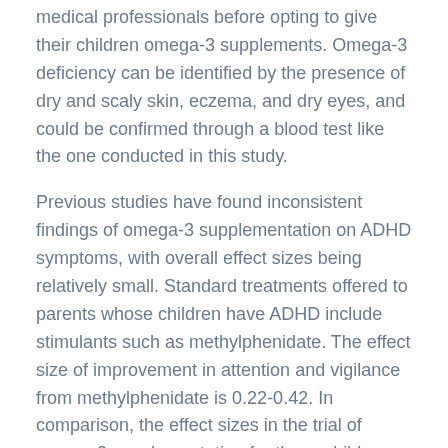medical professionals before opting to give their children omega-3 supplements. Omega-3 deficiency can be identified by the presence of dry and scaly skin, eczema, and dry eyes, and could be confirmed through a blood test like the one conducted in this study.
Previous studies have found inconsistent findings of omega-3 supplementation on ADHD symptoms, with overall effect sizes being relatively small. Standard treatments offered to parents whose children have ADHD include stimulants such as methylphenidate. The effect size of improvement in attention and vigilance from methylphenidate is 0.22-0.42. In comparison, the effect sizes in the trial of omega-3 supplementation for those children with low blood-levels of EPA were larger, at 0.89 for focused attention and 0.83 for vigilance.